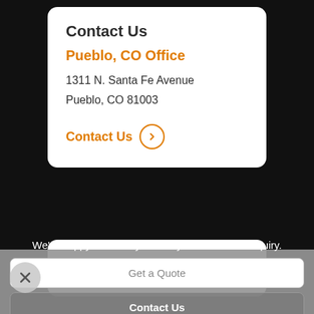Contact Us
Pueblo, CO Office
1311 N. Santa Fe Avenue
Pueblo, CO 81003
Contact Us →
Commercial Property
We're happy to assist you with your insurance inquiry.
Get a Quote
Contact Us